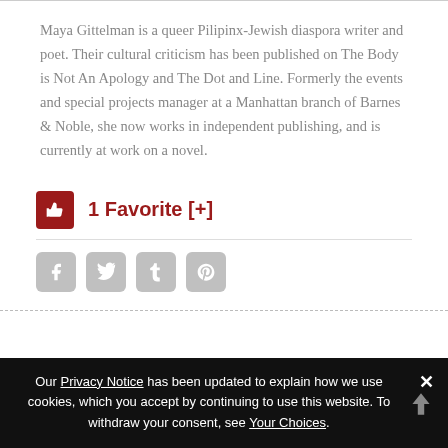Maya Gittelman is a queer Pilipinx-Jewish diaspora writer and poet. Their cultural criticism has been published on The Body is Not An Apology and The Dot and Line. Formerly the events and special projects manager at a Manhattan branch of Barnes & Noble, she now works in independent publishing, and is currently at work on a novel.
1 Favorite [+]
[Figure (other): Social media share icons: Facebook, Twitter, Tumblr, Pinterest]
Our Privacy Notice has been updated to explain how we use cookies, which you accept by continuing to use this website. To withdraw your consent, see Your Choices.